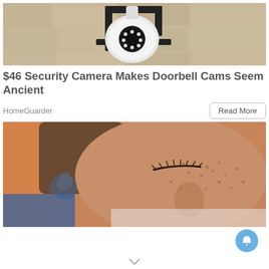[Figure (photo): Security camera mounted on a wall bracket with LED ring, close-up view against a stone/concrete wall background]
$46 Security Camera Makes Doorbell Cams Seem Ancient
HomeGuarder
[Figure (photo): Close-up of a woman with eyes closed, freckled skin and dark hair, appears to be resting or sleeping, tattoo visible on shoulder]